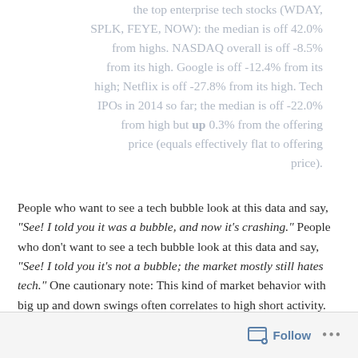the top enterprise tech stocks (WDAY, SPLK, FEYE, NOW): the median is off 42.0% from highs. NASDAQ overall is off -8.5% from its high. Google is off -12.4% from its high; Netflix is off -27.8% from its high. Tech IPOs in 2014 so far; the median is off -22.0% from high but up 0.3% from the offering price (equals effectively flat to offering price).
People who want to see a tech bubble look at this data and say, "See! I told you it was a bubble, and now it's crashing." People who don't want to see a tech bubble look at this data and say, "See! I told you it's not a bubble; the market mostly still hates tech." One cautionary note: This kind of market behavior with big up and down swings often correlates to high short activity.
Follow ...